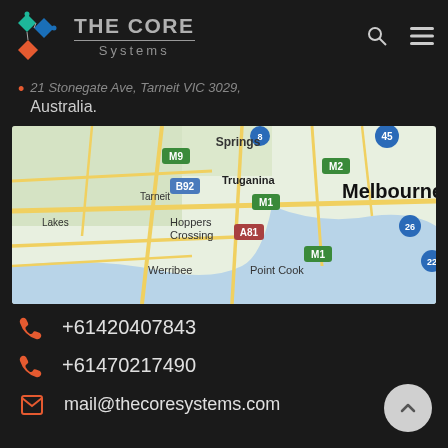THE CORE Systems
[partial address] ..., Tarneit VIC 3029, Australia.
[Figure (map): Google Maps showing Melbourne area including suburbs: Truganina, Tarneit, Hoppers Crossing, Werribee, Point Cook, Melbourne, Springs, with road designations M9, M1, M2, B92, A81, 45, 26, 8]
+61420407843
+61470217490
mail@thecoresystems.com